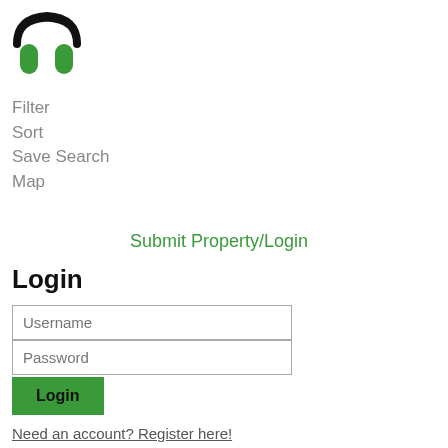[Figure (logo): Real estate app logo: circular shape with black arc on top, two green shield/pillar shapes at bottom]
Filter
Sort
Save Search
Map
Submit Property/Login
Login
Username
Password
Login
Need an account? Register here!
Forgot Password?
Register
Username